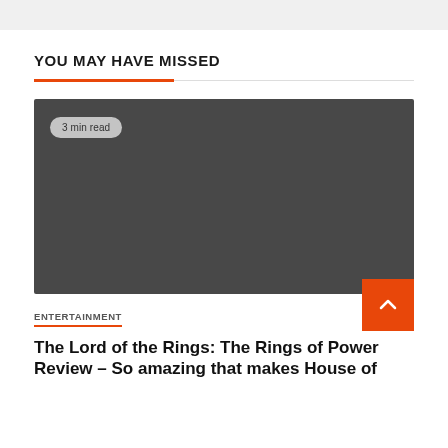YOU MAY HAVE MISSED
[Figure (photo): Dark grey placeholder image with a '3 min read' badge in the top left corner]
3 min read
ENTERTAINMENT
The Lord of the Rings: The Rings of Power Review – So amazing that makes House of